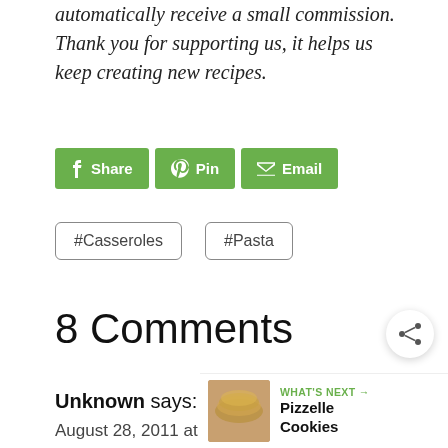automatically receive a small commission. Thank you for supporting us, it helps us keep creating new recipes.
[Figure (other): Social share buttons: Share (Facebook), Pin (Pinterest), Email]
#Casseroles
#Pasta
8 Comments
Unknown says:
August 28, 2011 at 4:34 am
[Figure (other): Share icon circle button]
[Figure (other): What's Next box with Pizzelle Cookies thumbnail]